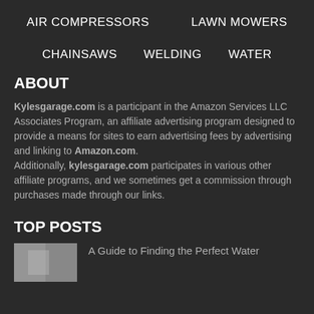AIR COMPRESSORS   LAWN MOWERS
CHAINSAWS   WELDING   WATER
ABOUT
Kylesgarage.com is a participant in the Amazon Services LLC Associates Program, an affiliate advertising program designed to provide a means for sites to earn advertising fees by advertising and linking to Amazon.com. Additionally, kylesgarage.com participates in various other affiliate programs, and we sometimes get a commission through purchases made through our links.
TOP POSTS
A Guide to Finding the Perfect Water